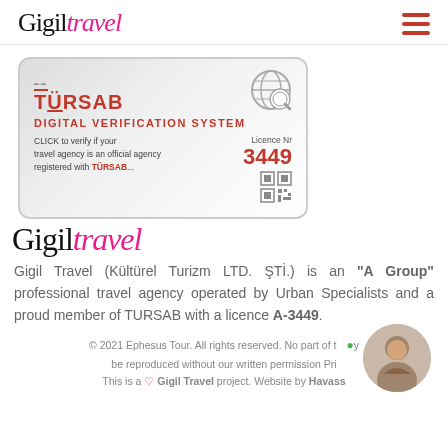Gigil Travel logo and hamburger menu
[Figure (other): TÜRSAB Digital Verification System badge with licence number 3449]
[Figure (logo): Gigil Travel cursive logo in black and pink]
Gigil Travel (Kültürel Turizm LTD. ŞTİ.) is an "A Group" professional travel agency operated by Urban Specialists and a proud member of TURSAB with a licence A-3449.
© 2021 Ephesus Tour. All rights reserved. No part of this may be reproduced without our written permission Pri... This is a ♡ Gigil Travel project. Website by Havass...